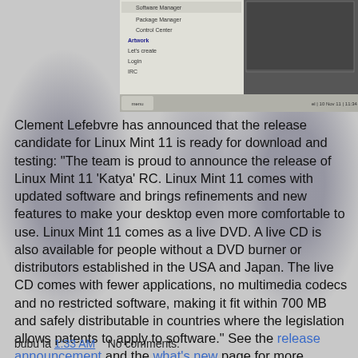[Figure (screenshot): Screenshot of Linux Mint desktop showing application menu and dark panel area with taskbar]
Clement Lefebvre has announced that the release candidate for Linux Mint 11 is ready for download and testing: "The team is proud to announce the release of Linux Mint 11 'Katya' RC. Linux Mint 11 comes with updated software and brings refinements and new features to make your desktop even more comfortable to use. Linux Mint 11 comes as a live DVD. A live CD is also available for people without a DVD burner or distributors established in the USA and Japan. The live CD comes with fewer applications, no multimedia codecs and no restricted software, making it fit within 700 MB and safely distributable in countries where the legislation allows patents to apply to software." See the release announcement and the what's new page for more information. Download (SHA256): linuxmint-11-gnome-dvd-32bit-rc.iso (868MB, torrent), linuxmint-11-gnome-dvd-64bit-rc.iso (867MB, torrent).
bubu la 1:33 AM    No comments: